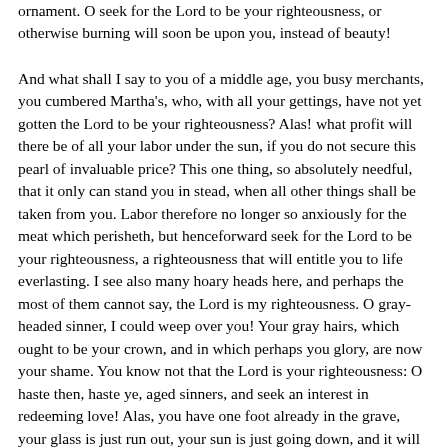ornament. O seek for the Lord to be your righteousness, or otherwise burning will soon be upon you, instead of beauty!
And what shall I say to you of a middle age, you busy merchants, you cumbered Martha's, who, with all your gettings, have not yet gotten the Lord to be your righteousness? Alas! what profit will there be of all your labor under the sun, if you do not secure this pearl of invaluable price? This one thing, so absolutely needful, that it only can stand you in stead, when all other things shall be taken from you. Labor therefore no longer so anxiously for the meat which perisheth, but henceforward seek for the Lord to be your righteousness, a righteousness that will entitle you to life everlasting. I see also many hoary heads here, and perhaps the most of them cannot say, the Lord is my righteousness. O gray-headed sinner, I could weep over you! Your gray hairs, which ought to be your crown, and in which perhaps you glory, are now your shame. You know not that the Lord is your righteousness: O haste then, haste ye, aged sinners, and seek an interest in redeeming love! Alas, you have one foot already in the grave, your glass is just run out, your sun is just going down, and it will set and leave you in an eternal darkness, unless the Lord be your righteousness! Flee then, O flee for your lives! Be not afraid. All things are possible with God. If you come, though it be at the eleventh hour, Christ Jesus will in no wise cast you out. Seek then for the Lord to be your righteousness, and beseech him to let you